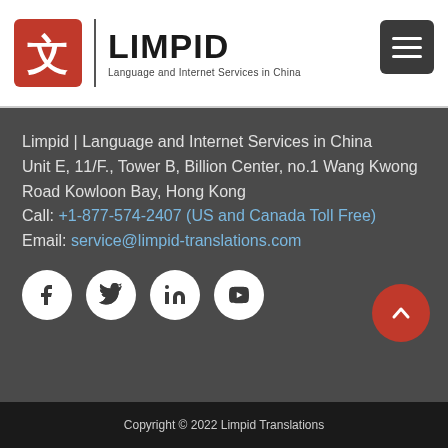[Figure (logo): Limpid logo: red square with Chinese character 文, vertical divider, bold LIMPID text and tagline 'Language and Internet Services in China']
[Figure (other): Dark gray hamburger menu button with three white horizontal lines]
Limpid | Language and Internet Services in China
Unit E, 11/F., Tower B, Billion Center, no.1 Wang Kwong Road Kowloon Bay, Hong Kong
Call: +1-877-574-2407 (US and Canada Toll Free)
Email: service@limpid-translations.com
[Figure (other): Row of four social media icon circles: Facebook, Twitter, LinkedIn, YouTube]
[Figure (other): Red circular back-to-top button with upward chevron arrow]
Copyright © 2022 Limpid Translations